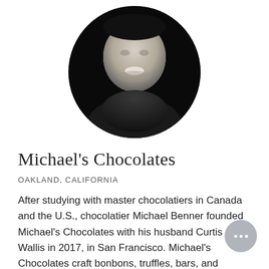[Figure (photo): Black and white circular portrait photo of a smiling bald man]
Michael's Chocolates
OAKLAND, CALIFORNIA
After studying with master chocolatiers in Canada and the U.S., chocolatier Michael Benner founded Michael's Chocolates with his husband Curtis Wallis in 2017, in San Francisco. Michael's Chocolates crafts bonbons, truffles, bars, and confections